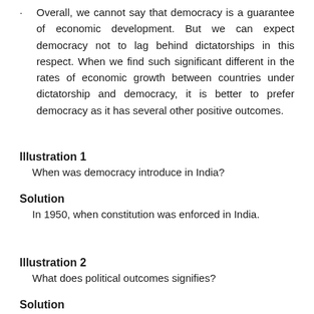Overall, we cannot say that democracy is a guarantee of economic development. But we can expect democracy not to lag behind dictatorships in this respect. When we find such significant different in the rates of economic growth between countries under dictatorship and democracy, it is better to prefer democracy as it has several other positive outcomes.
Illustration 1
When was democracy introduce in India?
Solution
In 1950, when constitution was enforced in India.
Illustration 2
What does political outcomes signifies?
Solution